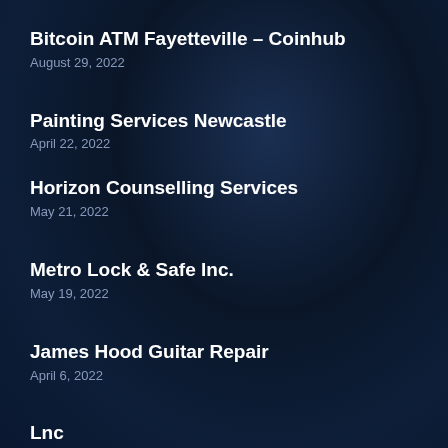Bitcoin ATM Fayetteville – Coinhub
August 29, 2022
Painting Services Newcastle
April 22, 2022
Horizon Counselling Services
May 21, 2022
Metro Lock & Safe Inc.
May 19, 2022
James Hood Guitar Repair
April 6, 2022
Lnc